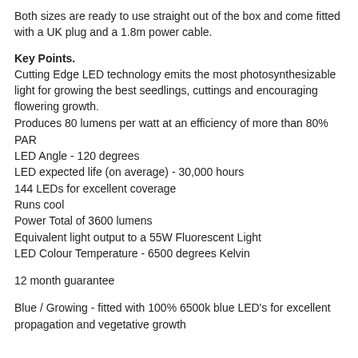Both sizes are ready to use straight out of the box and come fitted with a UK plug and a 1.8m power cable.
Key Points.
Cutting Edge LED technology emits the most photosynthesizable light for growing the best seedlings, cuttings and encouraging flowering growth.
Produces 80 lumens per watt at an efficiency of more than 80% PAR
LED Angle - 120 degrees
LED expected life (on average) - 30,000 hours
144 LEDs for excellent coverage
Runs cool
Power Total of 3600 lumens
Equivalent light output to a 55W Fluorescent Light
LED Colour Temperature - 6500 degrees Kelvin
12 month guarantee
Blue / Growing - fitted with 100% 6500k blue LED's for excellent propagation and vegetative growth